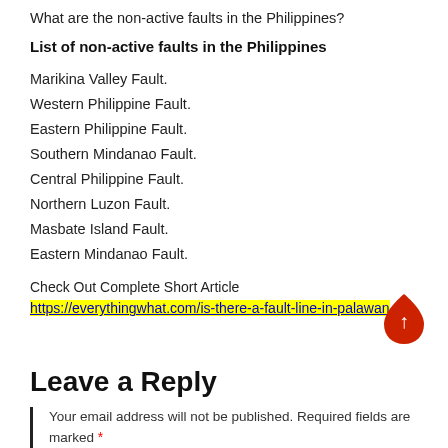What are the non-active faults in the Philippines?
List of non-active faults in the Philippines
Marikina Valley Fault.
Western Philippine Fault.
Eastern Philippine Fault.
Southern Mindanao Fault.
Central Philippine Fault.
Northern Luzon Fault.
Masbate Island Fault.
Eastern Mindanao Fault.
Check Out Complete Short Article https://everythingwhat.com/is-there-a-fault-line-in-palawan .
Leave a Reply
Your email address will not be published. Required fields are marked *